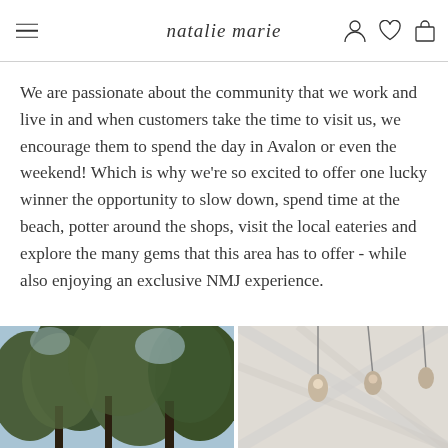natalie marie [logo with hamburger menu and nav icons]
We are passionate about the community that we work and live in and when customers take the time to visit us, we encourage them to spend the day in Avalon or even the weekend! Which is why we're so excited to offer one lucky winner the opportunity to slow down, spend time at the beach, potter around the shops, visit the local eateries and explore the many gems that this area has to offer - while also enjoying an exclusive NMJ experience.
[Figure (photo): Outdoor photo of trees with leafy canopy against a blue sky]
[Figure (photo): Interior photo of white wooden ceiling with hanging pendant lights]